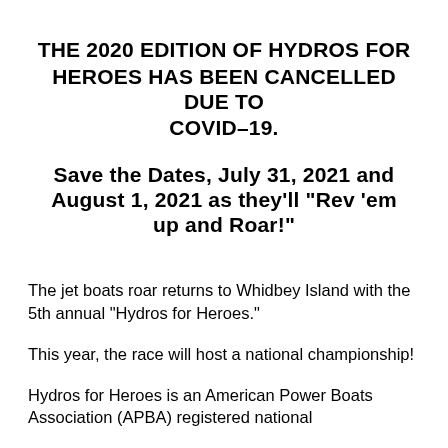THE 2020 EDITION OF HYDROS FOR HEROES HAS BEEN CANCELLED DUE TO COVID-19.
Save the Dates, July 31, 2021 and August 1, 2021 as they'll "Rev 'em up and Roar!"
The jet boats roar returns to Whidbey Island with the 5th annual "Hydros for Heroes."
This year, the race will host a national championship!
Hydros for Heroes is an American Power Boats Association (APBA) registered national